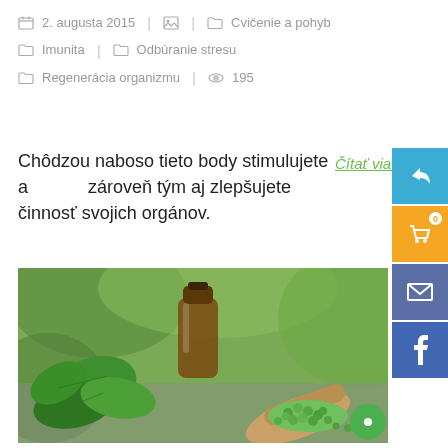2. augusta 2015 | [image icon] | Cvičenie a pohyb | Imunita | Odbúranie stresu | Regenerácia organizmu | 195
Chôdzou naboso tieto body stimulujete a zároveň tým aj zlepšujete činnosť svojich orgánov.
[Figure (photo): A glass bottle of essential oil with fresh green mint leaves and green herbal pellets in a wooden scoop on a stone surface.]